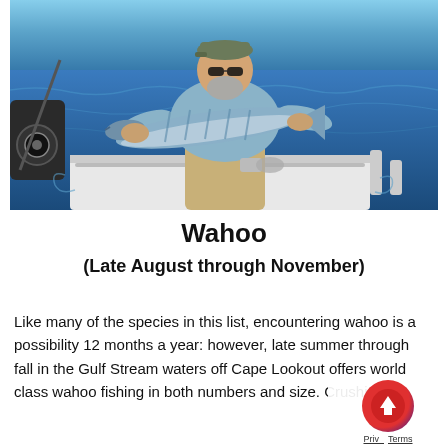[Figure (photo): A man in a green cap, sunglasses, and grey t-shirt holding a large wahoo fish on a boat, with blue ocean water in the background. A fishing reel is visible on the left side.]
Wahoo
(Late August through November)
Like many of the species in this list, encountering wahoo is a possibility 12 months a year: however, late summer through fall in the Gulf Stream waters off Cape Lookout offers world class wahoo fishing in both numbers and size. Crushing